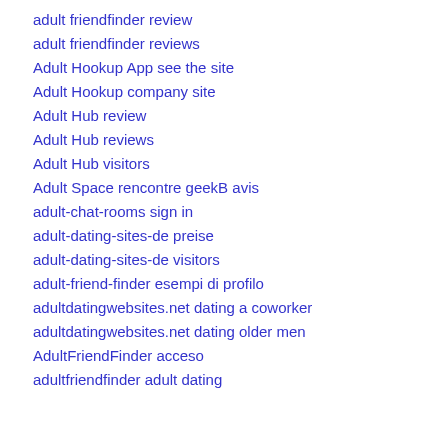adult friendfinder review
adult friendfinder reviews
Adult Hookup App see the site
Adult Hookup company site
Adult Hub review
Adult Hub reviews
Adult Hub visitors
Adult Space rencontre geekB avis
adult-chat-rooms sign in
adult-dating-sites-de preise
adult-dating-sites-de visitors
adult-friend-finder esempi di profilo
adultdatingwebsites.net dating a coworker
adultdatingwebsites.net dating older men
AdultFriendFinder acceso
adultfriendfinder adult dating